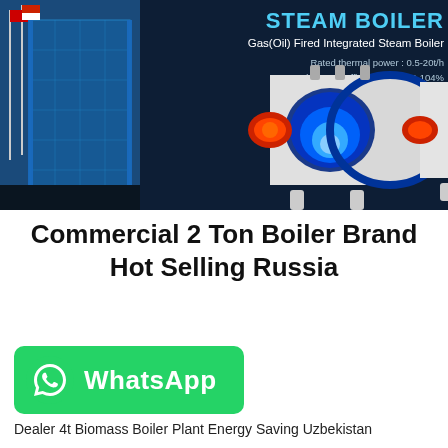[Figure (photo): Dark navy banner showing industrial gas/oil fired integrated steam boilers. Left side shows a building with flags; right side shows multiple white and blue horizontal cylindrical boilers with red burner elements and internal combustion view. Text overlay reads 'STEAM BOILER', 'Gas(Oil) Fired Integrated Steam Boiler', 'Rated thermal power: 0.5-20t/h', 'Rated thermal efficiency: > 100-104%']
Commercial 2 Ton Boiler Brand Hot Selling Russia
[Figure (logo): Green WhatsApp button with phone icon and text 'WhatsApp']
Dealer 4t Biomass Boiler Plant Energy Saving Uzbekistan